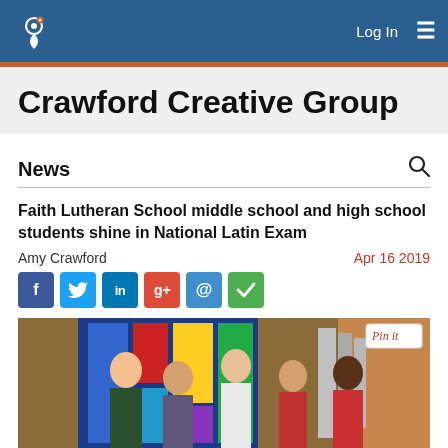Crawford Creative Group — Log In | Menu
Crawford Creative Group
News
Faith Lutheran School middle school and high school students shine in National Latin Exam
Amy Crawford
Apr 16 2019
[Figure (photo): Group photo of five students (two girls, two boys, one girl) standing together in what appears to be a church or school chapel with stained glass windows visible in the background. A 'Pin it' badge is overlaid on the top right.]
Pin it